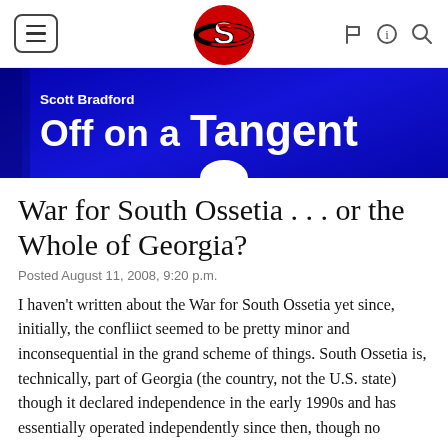[Figure (logo): Navigation bar with hamburger menu button on left, circular red and black planet logo in center, and flag, info, and search icons on right]
[Figure (logo): Blue banner with 'Scott Bradford' subtitle and 'Off on a Tangent' title in white text]
War for South Ossetia . . . or the Whole of Georgia?
Posted August 11, 2008, 9:20 p.m.
I haven't written about the War for South Ossetia yet since, initially, the confliict seemed to be pretty minor and inconsequential in the grand scheme of things. South Ossetia is, technically, part of Georgia (the country, not the U.S. state) though it declared independence in the early 1990s and has essentially operated independently since then, though no